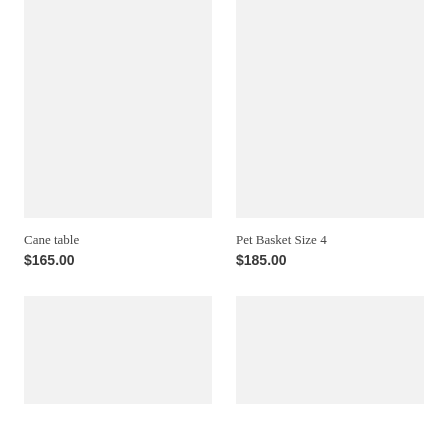[Figure (photo): Product image placeholder for Cane table, light gray background]
Cane table
$165.00
[Figure (photo): Product image placeholder for Pet Basket Size 4, light gray background]
Pet Basket Size 4
$185.00
[Figure (photo): Product image placeholder, bottom left, light gray background]
[Figure (photo): Product image placeholder, bottom right, light gray background]